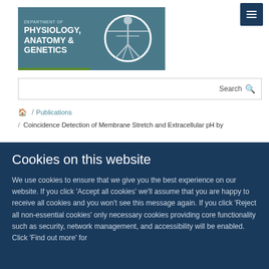[Figure (logo): Department of Physiology, Anatomy & Genetics logo with Vitruvian Man figure on teal/blue background]
[Figure (other): Hamburger menu icon button (three horizontal lines) on dark navy background]
Search
/ Publications
/ Coincidence Detection of Membrane Stretch and Extracellular pH by
Cookies on this website
We use cookies to ensure that we give you the best experience on our website. If you click 'Accept all cookies' we'll assume that you are happy to receive all cookies and you won't see this message again. If you click 'Reject all non-essential cookies' only necessary cookies providing core functionality such as security, network management, and accessibility will be enabled. Click 'Find out more' for